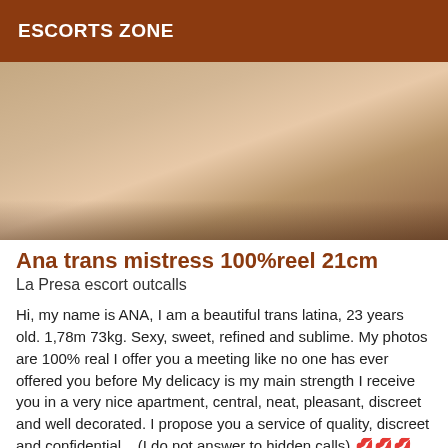ESCORTS ZONE
[Figure (photo): Cropped photo showing a person's torso and waist area with red fingernails visible, wearing dark clothing, against a brown fur-like background]
Ana trans mistress 100%reel 21cm
La Presa escort outcalls
Hi, my name is ANA, I am a beautiful trans latina, 23 years old. 1,78m 73kg. Sexy, sweet, refined and sublime. My photos are 100% real I offer you a meeting like no one has ever offered you before My delicacy is my main strength I receive you in a very nice apartment, central, neat, pleasant, discreet and well decorated. I propose you a service of quality, discreet and confidential... (I do not answer to hidden calls) 💋💋💋 Kisses